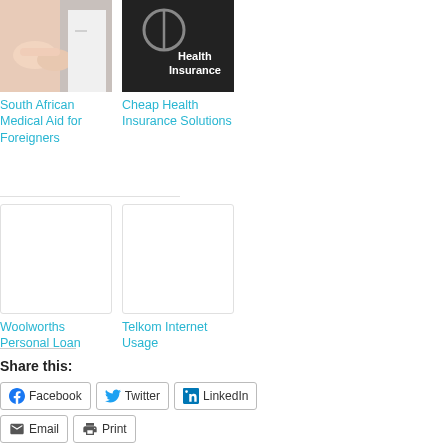[Figure (photo): Photo of medical professional holding patient hands]
South African Medical Aid for Foreigners
[Figure (photo): Dark background with stethoscope and text Health Insurance]
Cheap Health Insurance Solutions
[Figure (photo): Blank white card placeholder for Woolworths Personal Loan]
Woolworths Personal Loan
[Figure (photo): Blank white card placeholder for Telkom Internet Usage]
Telkom Internet Usage
Share this:
Facebook
Twitter
LinkedIn
Email
Print